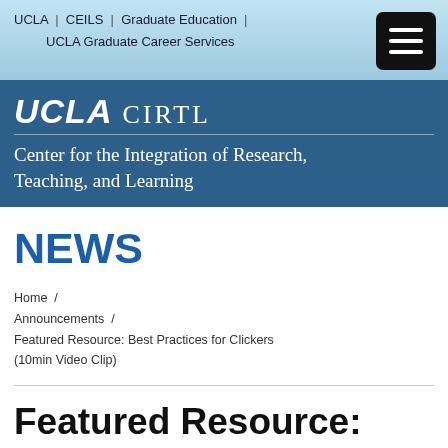UCLA | CEILS | Graduate Education | UCLA Graduate Career Services
UCLA CIRTL Center for the Integration of Research, Teaching, and Learning
NEWS
Home / Announcements / Featured Resource: Best Practices for Clickers (10min Video Clip)
Featured Resource: Best